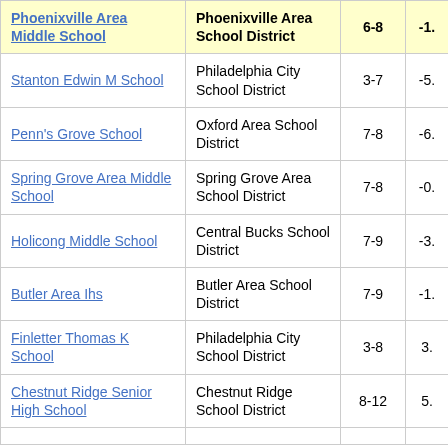| School | District | Grades | Value |
| --- | --- | --- | --- |
| Phoenixville Area Middle School | Phoenixville Area School District | 6-8 | -1. |
| Stanton Edwin M School | Philadelphia City School District | 3-7 | -5. |
| Penn's Grove School | Oxford Area School District | 7-8 | -6. |
| Spring Grove Area Middle School | Spring Grove Area School District | 7-8 | -0. |
| Holicong Middle School | Central Bucks School District | 7-9 | -3. |
| Butler Area Ihs | Butler Area School District | 7-9 | -1. |
| Finletter Thomas K School | Philadelphia City School District | 3-8 | 3. |
| Chestnut Ridge Senior High School | Chestnut Ridge School District | 8-12 | 5. |